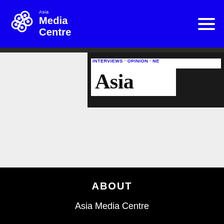Asia Media Centre
[Figure (screenshot): Hero image section showing partial text and 'Asia' in large serif font against a dark background with a white block overlay]
ABOUT
Asia Media Centre